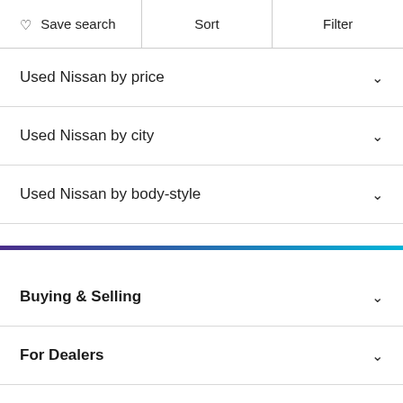Save search | Sort | Filter
Used Nissan by price
Used Nissan by city
Used Nissan by body-style
Buying & Selling
For Dealers
Explore Our Brand